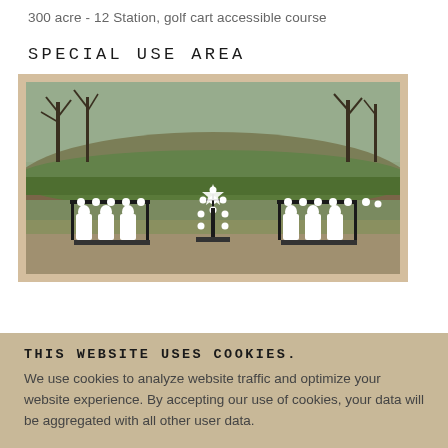300 acre - 12 Station, golf cart accessible course
SPECIAL USE AREA
[Figure (photo): Outdoor shooting range with multiple steel target stands holding silhouette targets arranged in a row, with a green hillside and bare trees in the background.]
THIS WEBSITE USES COOKIES.
We use cookies to analyze website traffic and optimize your website experience. By accepting our use of cookies, your data will be aggregated with all other user data.